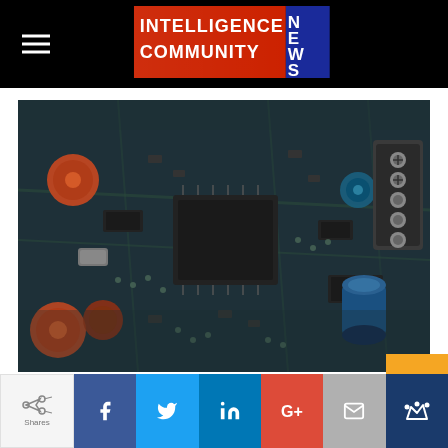Intelligence Community NEWS
[Figure (photo): Close-up macro photograph of a computer circuit board showing microchips, capacitors, and electronic components with dark teal/blue tones and shallow depth of field]
[Figure (infographic): Social media share buttons bar showing Facebook, Twitter, LinkedIn, Google+, Email, and King/Kingsumo icons with share count label on left]